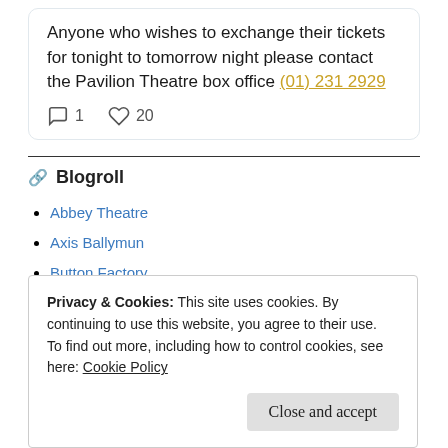Anyone who wishes to exchange their tickets for tonight to tomorrow night please contact the Pavilion Theatre box office (01) 231 2929
1 comment, 20 likes
Blogroll
Abbey Theatre
Axis Ballymun
Button Factory
Privacy & Cookies: This site uses cookies. By continuing to use this website, you agree to their use. To find out more, including how to control cookies, see here: Cookie Policy
Close and accept